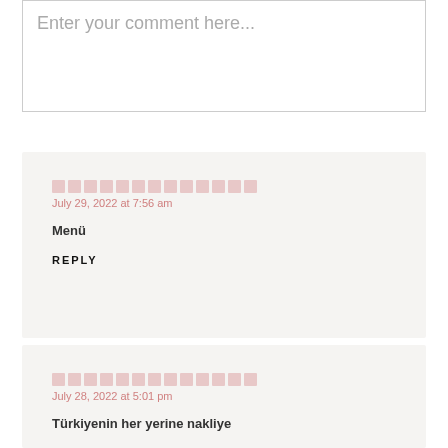Enter your comment here...
🟥🟥🟥🟥🟥🟥🟥🟥🟥🟥🟥🟥🟥
July 29, 2022 at 7:56 am
Menü
REPLY
🟥🟥🟥🟥🟥🟥🟥🟥🟥🟥🟥🟥🟥
July 28, 2022 at 5:01 pm
Türkiyenin her yerine nakliye
REPLY